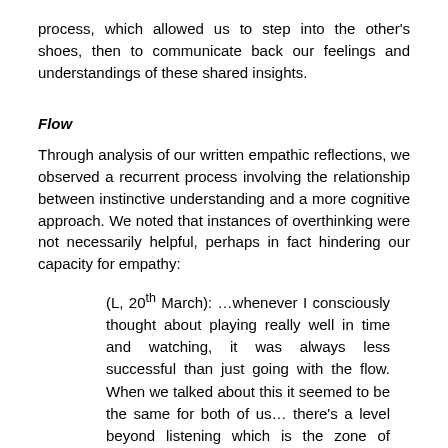process, which allowed us to step into the other's shoes, then to communicate back our feelings and understandings of these shared insights.
Flow
Through analysis of our written empathic reflections, we observed a recurrent process involving the relationship between instinctive understanding and a more cognitive approach. We noted that instances of overthinking were not necessarily helpful, perhaps in fact hindering our capacity for empathy:
(L, 20th March): …whenever I consciously thought about playing really well in time and watching, it was always less successful than just going with the flow. When we talked about this it seemed to be the same for both of us… there's a level beyond listening which is the zone of awareness and anticipation in which things just happen rather than are made to happen.